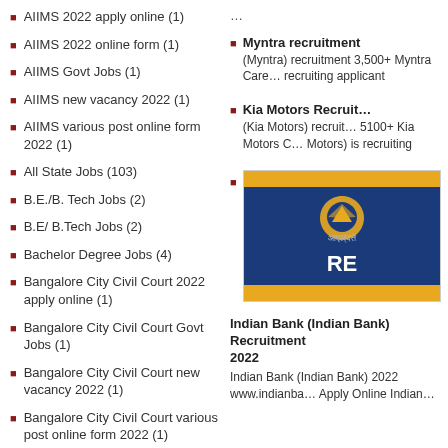AIIMS 2022 apply online (1)
AIIMS 2022 online form (1)
AIIMS Govt Jobs (1)
AIIMS new vacancy 2022 (1)
AIIMS various post online form 2022 (1)
All State Jobs (103)
B.E./B. Tech Jobs (2)
B.E/ B.Tech Jobs (2)
Bachelor Degree Jobs (4)
Bangalore City Civil Court 2022 apply online (1)
Bangalore City Civil Court Govt Jobs (1)
Bangalore City Civil Court new vacancy 2022 (1)
Bangalore City Civil Court various post online form 2022 (1)
…
Myntra recruitment (Myntra) recruitment 3,500+ Myntra Careers recruiting applicant
Kia Motors Recruitment (Kia Motors) recruitment 5100+ Kia Motors Careers (Kia Motors) is recruiting
[Figure (photo): Indian Bank recruitment banner with blue background, yellow top and bottom bars, logo of Indian Bank in gold, and text 'RE' in white bold letters]
Indian Bank (Indian Bank) Recruitment 2022
Indian Bank (Indian Bank) 2022 www.indianba… Apply Online Indian…